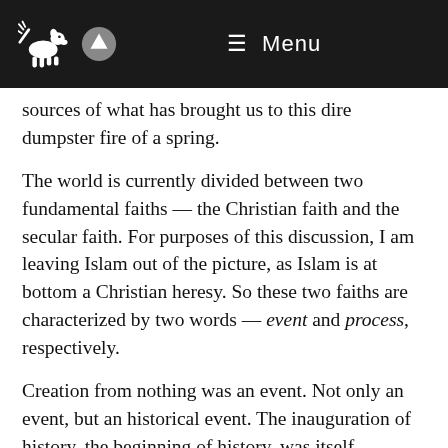≡ Menu
sources of what has brought us to this dire dumpster fire of a spring.
The world is currently divided between two fundamental faiths — the Christian faith and the secular faith. For purposes of this discussion, I am leaving Islam out of the picture, as Islam is at bottom a Christian heresy. So these two faiths are characterized by two words — event and process, respectively.
Creation from nothing was an event. Not only an event, but an historical event. The inauguration of history, the beginning of history, was itself historical. And God did it. He spoke and it was there, heaven and earth, big as life. He created all things from nothing through His Word, and then shaped the world with His words, and so there it was, ready for our first parents to live in.